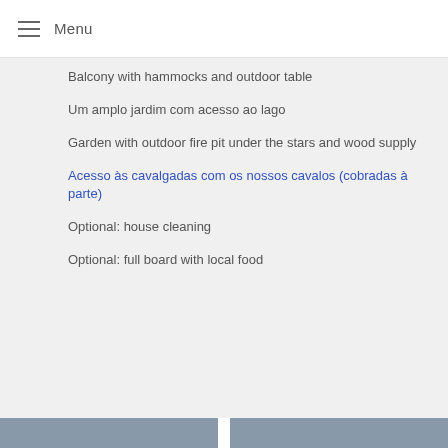Menu
Balcony with hammocks and outdoor table
Um amplo jardim com acesso ao lago
Garden with outdoor fire pit under the stars and wood supply
Acesso às cavalgadas com os nossos cavalos (cobradas à parte)
Optional: house cleaning
Optional: full board with local food
[Figure (photo): Two photo thumbnails at the bottom of the page]